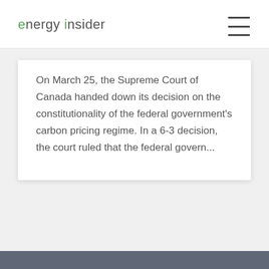energy insider
On March 25, the Supreme Court of Canada handed down its decision on the constitutionality of the federal government's carbon pricing regime. In a 6-3 decision, the court ruled that the federal govern...